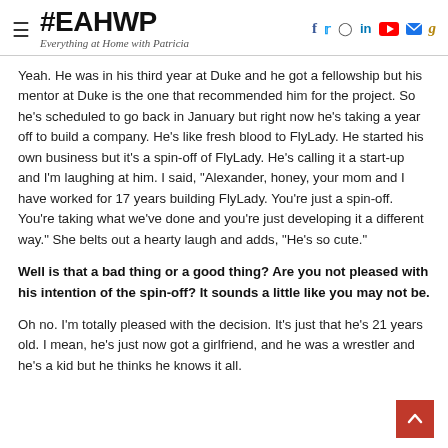#EAHWP Everything at Home with Patricia
Yeah. He was in his third year at Duke and he got a fellowship but his mentor at Duke is the one that recommended him for the project. So he's scheduled to go back in January but right now he's taking a year off to build a company. He's like fresh blood to FlyLady. He started his own business but it's a spin-off of FlyLady. He's calling it a start-up and I'm laughing at him. I said, "Alexander, honey, your mom and I have worked for 17 years building FlyLady. You're just a spin-off. You're taking what we've done and you're just developing it a different way." She belts out a hearty laugh and adds, "He's so cute."
Well is that a bad thing or a good thing? Are you not pleased with his intention of the spin-off? It sounds a little like you may not be.
Oh no. I'm totally pleased with the decision. It's just that he's 21 years old. I mean, he's just now got a girlfriend, and he was a wrestler and he's a kid but he thinks he knows it all.